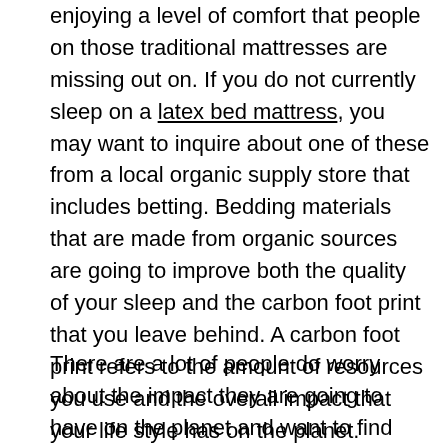enjoying a level of comfort that people on those traditional mattresses are missing out on. If you do not currently sleep on a latex bed mattress, you may want to inquire about one of these from a local organic supply store that includes betting. Bedding materials that are made from organic sources are going to improve both the quality of your sleep and the carbon foot print that you leave behind. A carbon foot print refers to the amount of resources you use and the overall impact that your life style has on the planet.
There are a lot of people do worry about the impact they are going to have on the planet and want to find ways to reduce their carbon foot print. A latex bed mattress is an excellent way to help